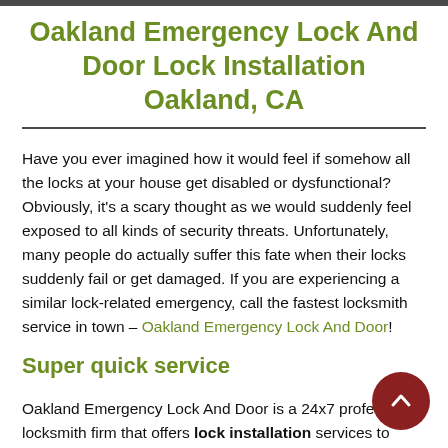Oakland Emergency Lock And Door Lock Installation Oakland, CA
Have you ever imagined how it would feel if somehow all the locks at your house get disabled or dysfunctional? Obviously, it’s a scary thought as we would suddenly feel exposed to all kinds of security threats. Unfortunately, many people do actually suffer this fate when their locks suddenly fail or get damaged. If you are experiencing a similar lock-related emergency, call the fastest locksmith service in town – Oakland Emergency Lock And Door!
Super quick service
Oakland Emergency Lock And Door is a 24x7 professional locksmith firm that offers lock installation services to residential, commercial, and automotive clients across Oakland, CA. We are known for our state-of-the-art tools and facility, which includes city-wide coverage through a